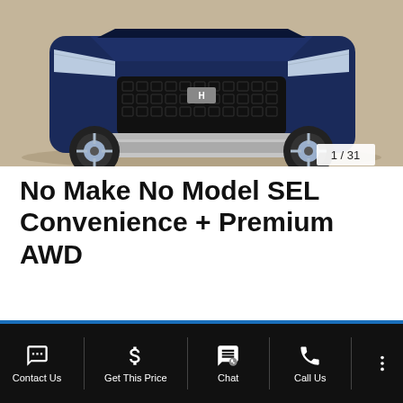[Figure (photo): Front view of a dark blue SUV (Hyundai Santa Fe or similar) photographed on a concrete/gravel surface, showing the front grille, hood, headlights, bumper, and left front wheel. Image counter shows 1/31.]
No Make No Model SEL Convenience + Premium AWD
IN STOCK
Contact Us | Get This Price | Chat | Call Us